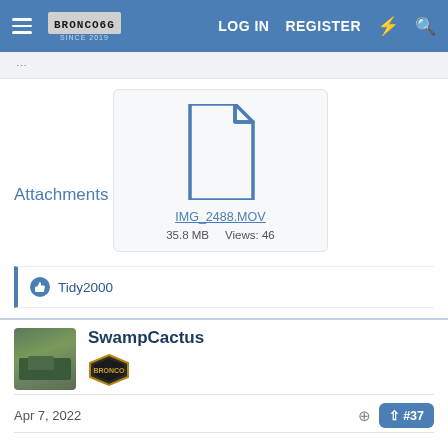LOG IN  REGISTER
Attachments
[Figure (other): File attachment icon (generic document) for IMG_2488.MOV, 35.8 MB, Views: 46]
IMG_2488.MOV
35.8 MB    Views: 46
Tidy2000
SwampCactus
[Figure (other): SwampCactus user avatar: photo of a truck in a forest, and a gold/black diamond badge icon]
Apr 7, 2022
#37